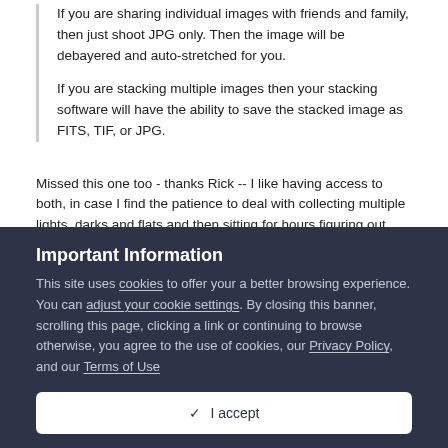If you are sharing individual images with friends and family, then just shoot JPG only. Then the image will be debayered and auto-stretched for you.

If you are stacking multiple images then your stacking software will have the ability to save the stacked image as FITS, TIF, or JPG.
Missed this one too - thanks Rick -- I like having access to both, in case I find the patience to deal with collecting multiple lights, darks and flats and then sitting for hours figuring out what/how to process them  <smile>.
Important Information
This site uses cookies to offer your a better browsing experience. You can adjust your cookie settings. By closing this banner, scrolling this page, clicking a link or continuing to browse otherwise, you agree to the use of cookies, our Privacy Policy, and our Terms of Use
✓  I accept